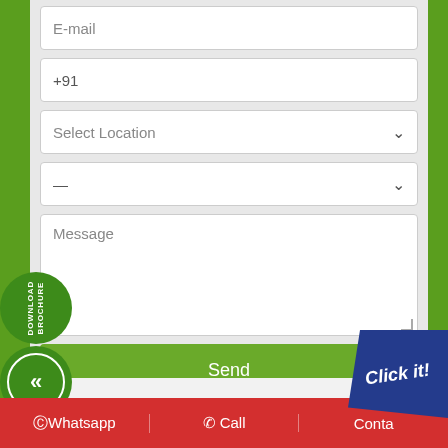[Figure (screenshot): A contact form UI with fields for E-mail, phone (+91), Select Location dropdown, a dash dropdown, Message textarea, and a Send button. Green background with form fields in white, Send button in green.]
DOWNLOAD BROCHURE
«
Click it!
©Whatsapp | ✆ Call | Conta